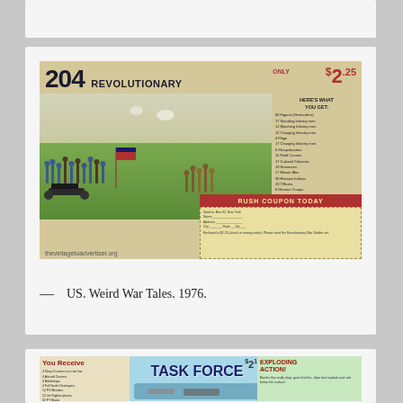[Figure (photo): Vintage comic book advertisement for 204 Revolutionary War Soldiers, priced at $2.25, showing an illustrated battle scene with soldiers and cannons. Watermark from thevintagetoadvertiser.org is visible.]
— US. Weird War Tales. 1976.
[Figure (photo): Vintage comic book advertisement for a Task Force military toy set, priced at $2.15, featuring ships, planes, and exploding effects on a blue ocean background.]